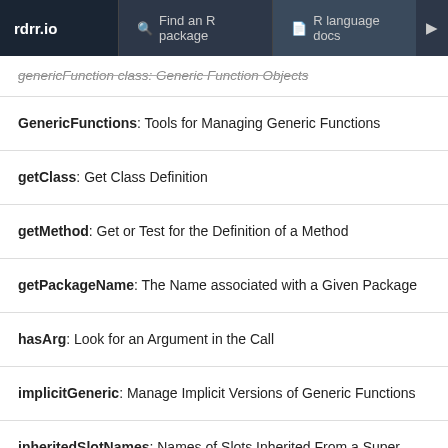rdrr.io | Find an R package | R language docs
genericFunction class: Generic Function Objects
GenericFunctions: Tools for Managing Generic Functions
getClass: Get Class Definition
getMethod: Get or Test for the Definition of a Method
getPackageName: The Name associated with a Given Package
hasArg: Look for an Argument in the Call
implicitGeneric: Manage Implicit Versions of Generic Functions
inheritedSlotNames: Names of Slots Inherited From a Super Class
initialize-methods: Methods to Initialize New Objects from a